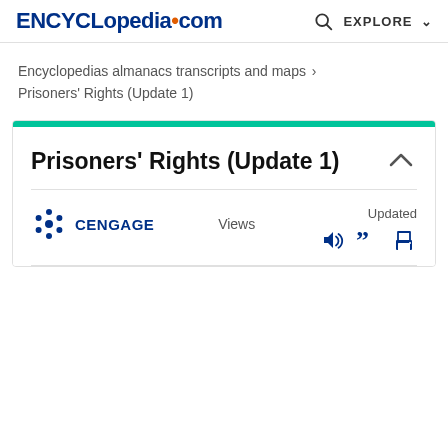ENCYCLopedia•com   🔍 EXPLORE ∨
Encyclopedias almanacs transcripts and maps › Prisoners' Rights (Update 1)
Prisoners' Rights (Update 1)
CENGAGE   Views   Updated